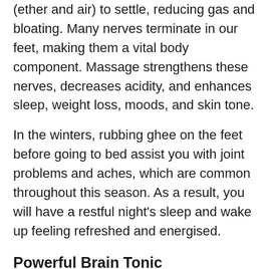(ether and air) to settle, reducing gas and bloating. Many nerves terminate in our feet, making them a vital body component. Massage strengthens these nerves, decreases acidity, and enhances sleep, weight loss, moods, and skin tone.
In the winters, rubbing ghee on the feet before going to bed assist you with joint problems and aches, which are common throughout this season. As a result, you will have a restful night’s sleep and wake up feeling refreshed and energised.
Powerful Brain Tonic
Apart from reviving the body, desi ghee also aids in the detoxification of the mind. According to